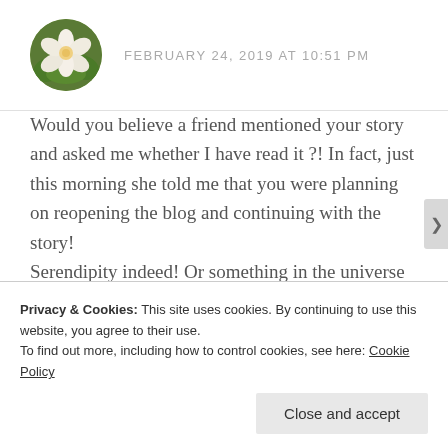[Figure (photo): Circular avatar photo of a white flower with green leaves background]
FEBRUARY 24, 2019 AT 10:51 PM
Would you believe a friend mentioned your story and asked me whether I have read it ?! In fact, just this morning she told me that you were planning on reopening the blog and continuing with the story!
Serendipity indeed! Or something in the universe is listening in for sure 🙂
Am excited to read the story and be a part of this journey.
Privacy & Cookies: This site uses cookies. By continuing to use this website, you agree to their use.
To find out more, including how to control cookies, see here: Cookie Policy
Close and accept